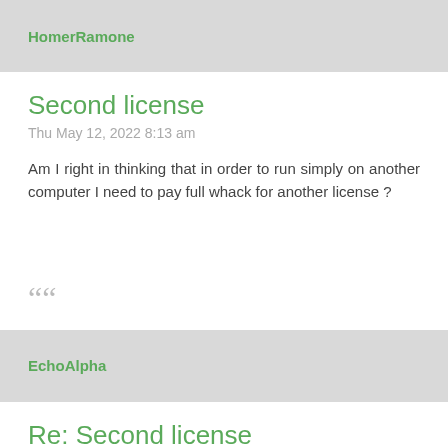HomerRamone
Second license
Thu May 12, 2022 8:13 am
Am I right in thinking that in order to run simply on another computer I need to pay full whack for another license ?
““
EchoAlpha
Re: Second license
Thu May 12, 2022 1:50 pm
You do not need a new license to install it on a second